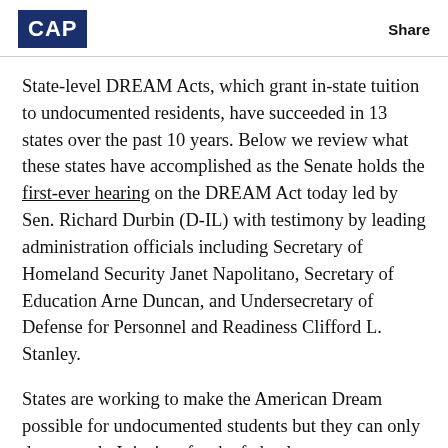CAP | Share
State-level DREAM Acts, which grant in-state tuition to undocumented residents, have succeeded in 13 states over the past 10 years. Below we review what these states have accomplished as the Senate holds the first-ever hearing on the DREAM Act today led by Sen. Richard Durbin (D-IL) with testimony by leading administration officials including Secretary of Homeland Security Janet Napolitano, Secretary of Education Arne Duncan, and Undersecretary of Defense for Personnel and Readiness Clifford L. Stanley.
States are working to make the American Dream possible for undocumented students but they can only do so much. It is time for the federal government to do